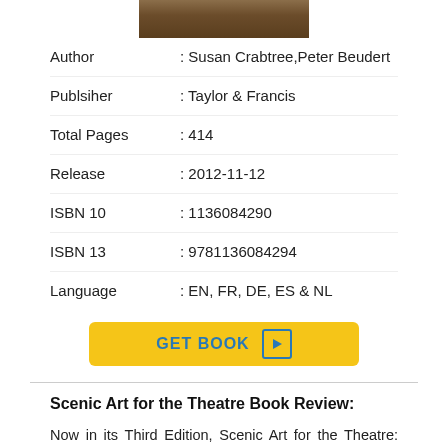[Figure (photo): Top portion of a book cover image showing dark brown tones]
Author : Susan Crabtree,Peter Beudert
Publsiher : Taylor & Francis
Total Pages : 414
Release : 2012-11-12
ISBN 10 : 1136084290
ISBN 13 : 9781136084294
Language : EN, FR, DE, ES & NL
GET BOOK ▶
Scenic Art for the Theatre Book Review:
Now in its Third Edition, Scenic Art for the Theatre: History, Tools and Techniques continues to be the most trusted source for